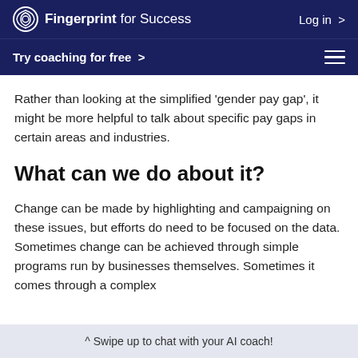Fingerprint for Success   Log in >
Try coaching for free >
Rather than looking at the simplified ‘gender pay gap’, it might be more helpful to talk about specific pay gaps in certain areas and industries.
What can we do about it?
Change can be made by highlighting and campaigning on these issues, but efforts do need to be focused on the data. Sometimes change can be achieved through simple programs run by businesses themselves. Sometimes it comes through a complex
^ Swipe up to chat with your AI coach!